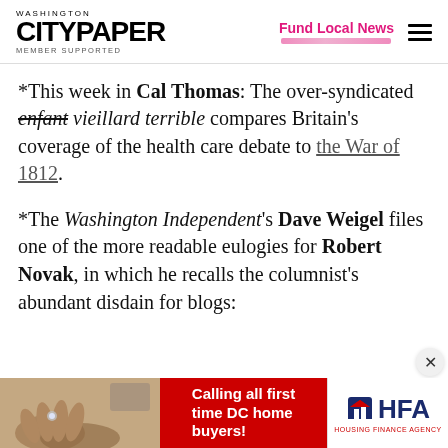Washington City Paper — Member Supported | Fund Local News
*This week in Cal Thomas: The over-syndicated enfant vieillard terrible compares Britain’s coverage of the health care debate to the War of 1812.
*The Washington Independent’s Dave Weigel files one of the more readable eulogies for Robert Novak, in which he recalls the columnist’s abundant disdain for blogs:
[Figure (photo): Advertisement banner: Calling all first time DC home buyers! with HFA (Housing Finance Agency) logo]